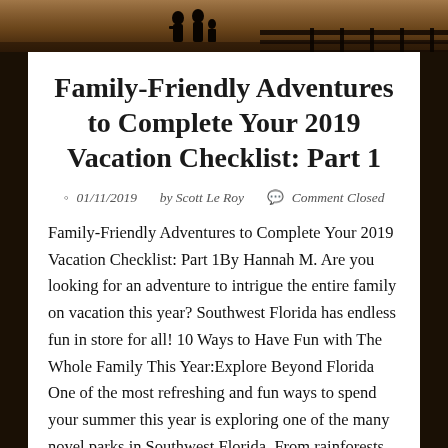[Figure (photo): Dark silhouette photo of a beach/pier scene at sunset with people and wooden dock structure]
Family-Friendly Adventures to Complete Your 2019 Vacation Checklist: Part 1
01/11/2019   by Scott Le Roy   Comment Closed
Family-Friendly Adventures to Complete Your 2019 Vacation Checklist: Part 1By Hannah M. Are you looking for an adventure to intrigue the entire family on vacation this year? Southwest Florida has endless fun in store for all! 10 Ways to Have Fun with The Whole Family This Year:Explore Beyond Florida One of the most refreshing and fun ways to spend your summer this year is exploring one of the many novel parks in Southwest Florida. From rainforests, circus events, and train rides, there’s endless fun to be had!  Smuggler’s CoveGet ready for the perfect